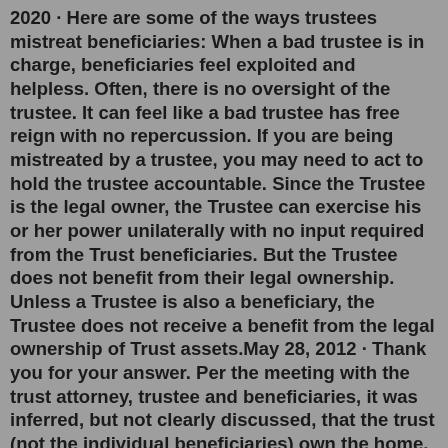2020 · Here are some of the ways trustees mistreat beneficiaries: When a bad trustee is in charge, beneficiaries feel exploited and helpless. Often, there is no oversight of the trustee. It can feel like a bad trustee has free reign with no repercussion. If you are being mistreated by a trustee, you may need to act to hold the trustee accountable. Since the Trustee is the legal owner, the Trustee can exercise his or her power unilaterally with no input required from the Trust beneficiaries. But the Trustee does not benefit from their legal ownership. Unless a Trustee is also a beneficiary, the Trustee does not receive a benefit from the legal ownership of Trust assets.May 28, 2012 · Thank you for your answer. Per the meeting with the trust attorney, trustee and beneficiaries, it was inferred, but not clearly discussed, that the trust (not the individual beneficiaries) own the home. I have yet to be provided a copy of the trust and will request a copy soon as the expected timeframe if 60 days has passed. Once the sale goes forward, each litigant can